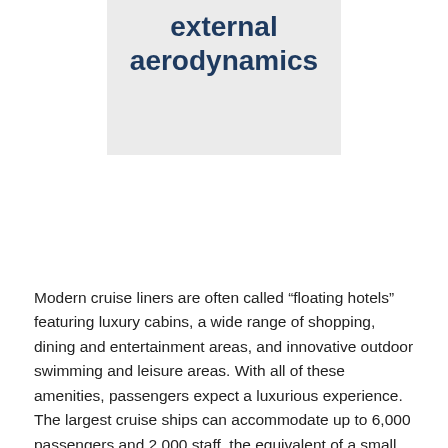[Figure (illustration): Gray box placeholder image with text 'external aerodynamics' in dark navy bold font]
Modern cruise liners are often called “floating hotels” featuring luxury cabins, a wide range of shopping, dining and entertainment areas, and innovative outdoor swimming and leisure areas. With all of these amenities, passengers expect a luxurious experience. The largest cruise ships can accommodate up to 6,000 passengers and 2,000 staff, the equivalent of a small town floating on the ocean.